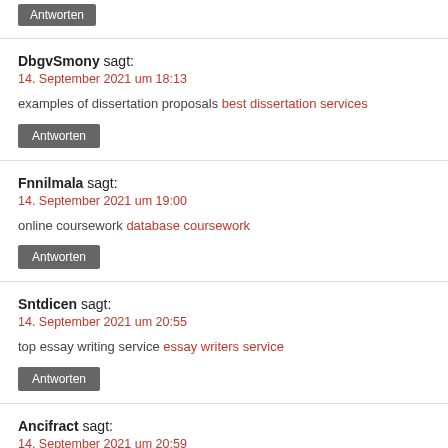Antworten
DbgvSmony sagt:
14. September 2021 um 18:13
examples of dissertation proposals best dissertation services
Antworten
Fnnilmala sagt:
14. September 2021 um 19:00
online coursework database coursework
Antworten
Sntdicen sagt:
14. September 2021 um 20:55
top essay writing service essay writers service
Antworten
Ancifract sagt:
14. September 2021 um 20:59
buy custom paper do my college paper for me